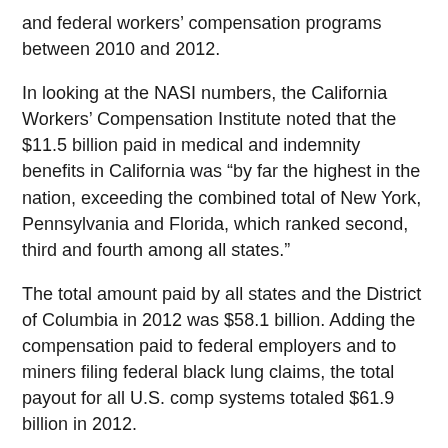and federal workers' compensation programs between 2010 and 2012.
In looking at the NASI numbers, the California Workers' Compensation Institute noted that the $11.5 billion paid in medical and indemnity benefits in California was “by far the highest in the nation, exceeding the combined total of New York, Pennsylvania and Florida, which ranked second, third and fourth among all states.”
The total amount paid by all states and the District of Columbia in 2012 was $58.1 billion. Adding the compensation paid to federal employers and to miners filing federal black lung claims, the total payout for all U.S. comp systems totaled $61.9 billion in 2012.
The $11.5 billion paid in California accounted for 19.8% of benefits paid by state systems in 2012, and 18.6% of all benefits paid, including federal compensation programs. New York accounted for 8.7% of all benefits paid in 2012, Pennsylvania accounted for 4.7% and Florida accounted for 4.6%.